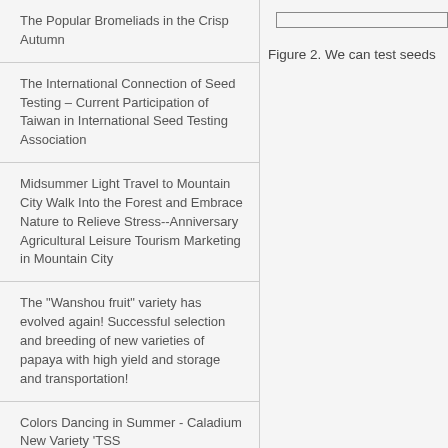The Popular Bromeliads in the Crisp Autumn
The International Connection of Seed Testing – Current Participation of Taiwan in International Seed Testing Association
Midsummer Light Travel to Mountain City Walk Into the Forest and Embrace Nature to Relieve Stress--Anniversary Agricultural Leisure Tourism Marketing in Mountain City
The "Wanshou fruit" variety has evolved again! Successful selection and breeding of new varieties of papaya with high yield and storage and transportation!
Colors Dancing in Summer - Caladium New Variety ‘TSS
[Figure (other): Figure box placeholder at top of right column]
Figure 2. We can test seeds